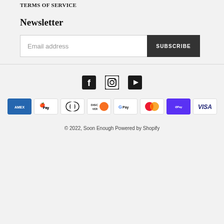TERMS OF SERVICE
Newsletter
Email address
SUBSCRIBE
[Figure (logo): Social media icons: Facebook, Instagram, YouTube]
[Figure (logo): Payment method icons: American Express, Apple Pay, Diners Club, Discover, Google Pay, Mastercard, Shop Pay, Visa]
© 2022, Soon Enough Powered by Shopify